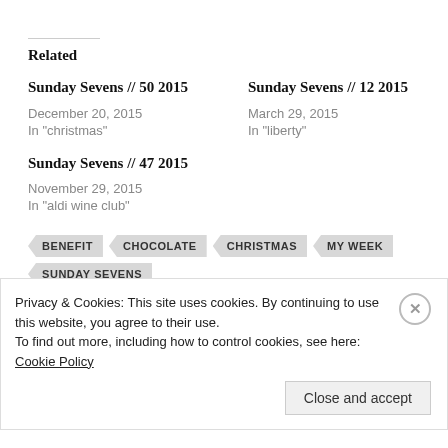Related
Sunday Sevens // 50 2015
December 20, 2015
In "christmas"
Sunday Sevens // 12 2015
March 29, 2015
In "liberty"
Sunday Sevens // 47 2015
November 29, 2015
In "aldi wine club"
BENEFIT
CHOCOLATE
CHRISTMAS
MY WEEK
SUNDAY SEVENS
Privacy & Cookies: This site uses cookies. By continuing to use this website, you agree to their use.
To find out more, including how to control cookies, see here: Cookie Policy
Close and accept